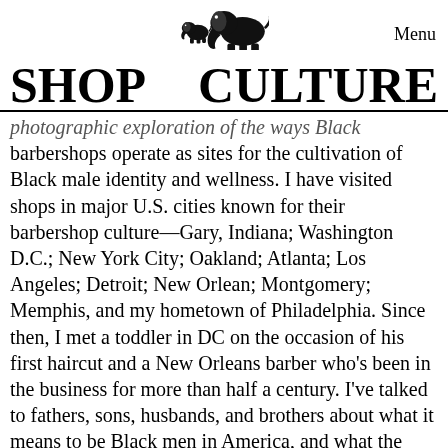Menu
[Figure (logo): Two elephant silhouettes (small and large) side by side, logo/icon]
SHOP    CULTURE
photographic exploration of the ways Black barbershops operate as sites for the cultivation of Black male identity and wellness. I have visited shops in major U.S. cities known for their barbershop culture—Gary, Indiana; Washington D.C.; New York City; Oakland; Atlanta; Los Angeles; Detroit; New Orlean; Montgomery; Memphis, and my hometown of Philadelphia. Since then, I met a toddler in DC on the occasion of his first haircut and a New Orleans barber who's been in the business for more than half a century. I've talked to fathers, sons, husbands, and brothers about what it means to be Black men in America, and what the barbershop means to them. The result of this reporting will be a timeless photo book, made available on